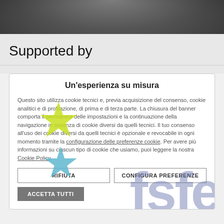[Figure (photo): Black and white close-up photo of a person's face/head, partially visible at the top of the page]
Supported by
Un'esperienza su misura

Questo sito utilizza cookie tecnici e, previa acquisizione del consenso, cookie analitici e di profilazione, di prima e di terza parte. La chiusura del banner comporta il permanere delle impostazioni e la continuazione della navigazione in assenza di cookie diversi da quelli tecnici. Il tuo consenso all'uso dei cookie diversi da quelli tecnici è opzionale e revocabile in ogni momento tramite la configurazione delle preferenze cookie. Per avere più informazioni su ciascun tipo di cookie che usiamo, puoi leggere la nostra Cookie Policy.
RIFIUTA   CONFIGURA PREFERENZE
ACCETTA TUTTI